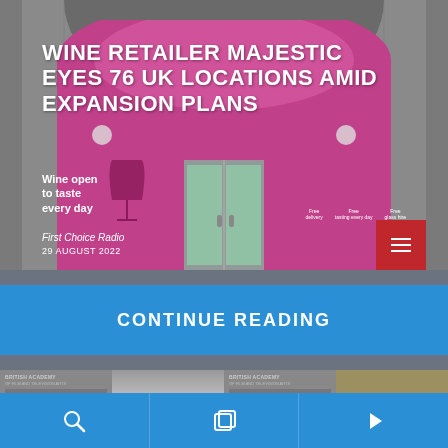[Figure (photo): Majestic Wine storefront with magenta/pink shopfront, arched entrance, glass doors, text 'Wine open to taste every day' and 'Free delivery, Free tasting every day, Free glass hire']
WINE RETAILER MAJESTIC EYES 76 UK LOCATIONS AMID EXPANSION PLANS
First Choice Radio
29 AUGUST 2022
CONTINUE READING
[Figure (photo): British Academy thumbnail image 1]
[Figure (photo): Person face photo thumbnail]
[Figure (photo): British Academy thumbnail image 2]
[Figure (photo): Partial thumbnail right edge]